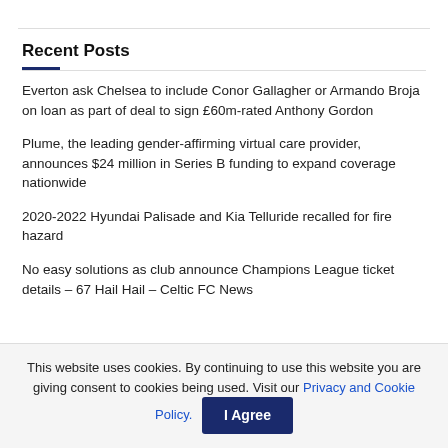Recent Posts
Everton ask Chelsea to include Conor Gallagher or Armando Broja on loan as part of deal to sign £60m-rated Anthony Gordon
Plume, the leading gender-affirming virtual care provider, announces $24 million in Series B funding to expand coverage nationwide
2020-2022 Hyundai Palisade and Kia Telluride recalled for fire hazard
No easy solutions as club announce Champions League ticket details – 67 Hail Hail – Celtic FC News
This website uses cookies. By continuing to use this website you are giving consent to cookies being used. Visit our Privacy and Cookie Policy.